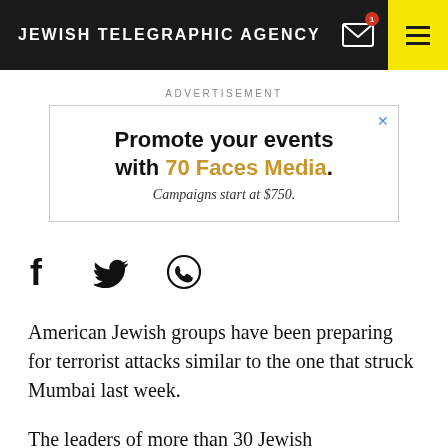JEWISH TELEGRAPHIC AGENCY
ADVERTISEMENT
[Figure (other): Advertisement box: 'Promote your events with 70 Faces Media. Campaigns start at $750.']
[Figure (other): Social sharing icons: Facebook, Twitter, WhatsApp]
American Jewish groups have been preparing for terrorist attacks similar to the one that struck Mumbai last week.
The leaders of more than 30 Jewish organizations